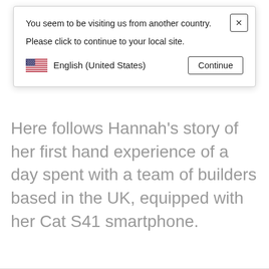You seem to be visiting us from another country.
Please click to continue to your local site.
English (United States)  Continue
Here follows Hannah's story of her first hand experience of a day spent with a team of builders based in the UK, equipped with her Cat S41 smartphone.